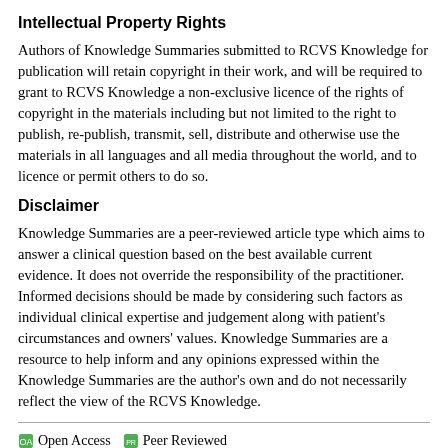Intellectual Property Rights
Authors of Knowledge Summaries submitted to RCVS Knowledge for publication will retain copyright in their work, and will be required to grant to RCVS Knowledge a non-exclusive licence of the rights of copyright in the materials including but not limited to the right to publish, re-publish, transmit, sell, distribute and otherwise use the materials in all languages and all media throughout the world, and to licence or permit others to do so.
Disclaimer
Knowledge Summaries are a peer-reviewed article type which aims to answer a clinical question based on the best available current evidence. It does not override the responsibility of the practitioner. Informed decisions should be made by considering such factors as individual clinical expertise and judgement along with patient's circumstances and owners' values. Knowledge Summaries are a resource to help inform and any opinions expressed within the Knowledge Summaries are the author's own and do not necessarily reflect the view of the RCVS Knowledge.
Open Access  Peer Reviewed